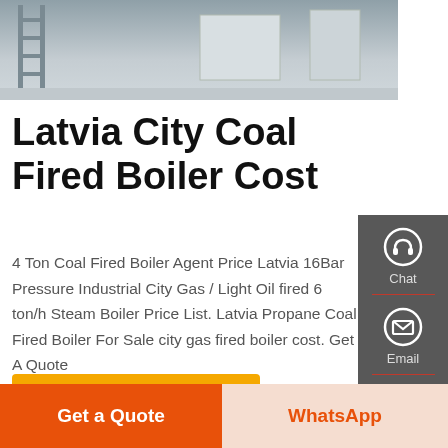[Figure (photo): Industrial boiler or factory interior photo strip at top]
Latvia City Coal Fired Boiler Cost
4 Ton Coal Fired Boiler Agent Price Latvia 16Bar Pressure Industrial City Gas / Light Oil fired 6 ton/h Steam Boiler Price List. Latvia Propane Coal Fired Boiler For Sale city gas fired boiler cost. Get A Quote
[Figure (infographic): Side panel with Chat, Email, Contact icons on dark grey background]
[Figure (photo): Two industrial boiler photos side by side with Chinese text]
Get A Quote
Get a Quote
WhatsApp